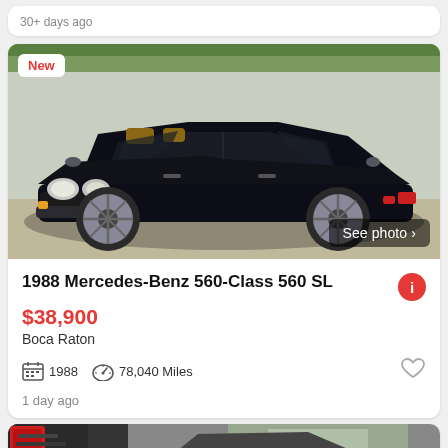30+ days ago
[Figure (photo): 1988 Mercedes-Benz 560 SL black convertible, top down, front 3/4 view, parked on gravel/concrete surface with trees in background. Red 'New' badge in top-left corner. 'See photo >' button in bottom-right.]
1988 Mercedes-Benz 560-Class 560 SL
$38,900
Boca Raton
1988  78,040 Miles
1 day ago
[Figure (photo): Partial view of another car listing at the bottom of the page, showing a dark-colored vehicle, partially cropped.]